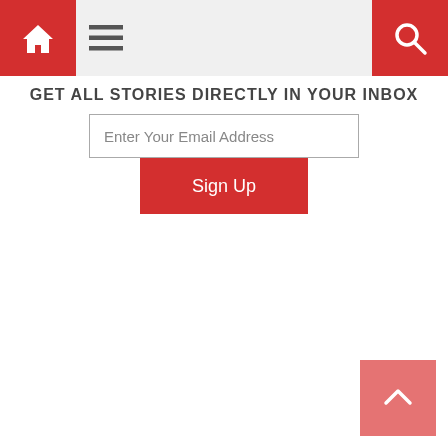Navigation bar with home icon, hamburger menu, and search icon
Get All Stories Directly In Your Inbox
Enter Your Email Address
Sign Up